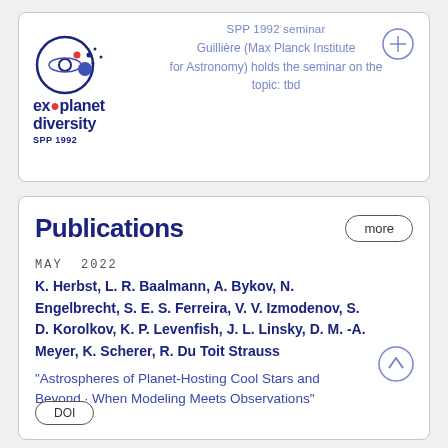[Figure (logo): Exoplanet Diversity SPP 1992 logo with planetary orbit icon]
SPP 1992 seminar
Guillière (Max Planck Institute for Astronomy) holds the seminar on the topic: tbd
Publications
MAY  2022
K. Herbst, L. R. Baalmann, A. Bykov, N. Engelbrecht, S. E. S. Ferreira, V. V. Izmodenov, S. D. Korolkov, K. P. Levenfish, J. L. Linsky, D. M. -A. Meyer, K. Scherer, R. Du Toit Strauss
"Astrospheres of Planet-Hosting Cool Stars and Beyond · When Modeling Meets Observations"